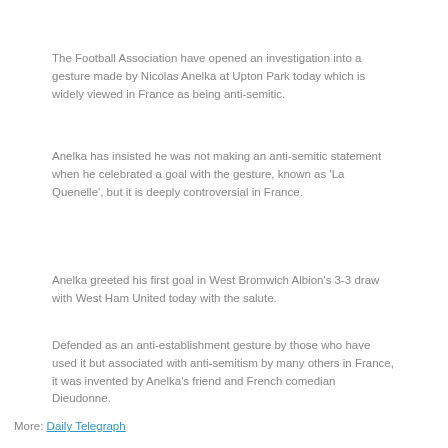The Football Association have opened an investigation into a gesture made by Nicolas Anelka at Upton Park today which is widely viewed in France as being anti-semitic.
Anelka has insisted he was not making an anti-semitic statement when he celebrated a goal with the gesture, known as 'La Quenelle', but it is deeply controversial in France.
Anelka greeted his first goal in West Bromwich Albion's 3-3 draw with West Ham United today with the salute.
Defended as an anti-establishment gesture by those who have used it but associated with anti-semitism by many others in France, it was invented by Anelka's friend and French comedian Dieudonne.
More: Daily Telegraph